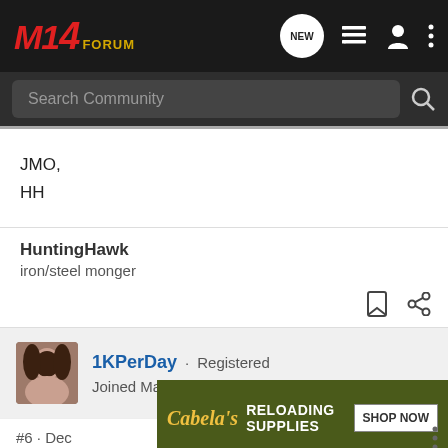M14 FORUM
Search Community
JMO,
HH
HuntingHawk
iron/steel monger
1KPerDay · Registered
Joined Mar 5, 2007 · 6,595 Posts
#6 · Dec
[Figure (screenshot): Cabela's Reloading Supplies advertisement banner with Shop Now button]